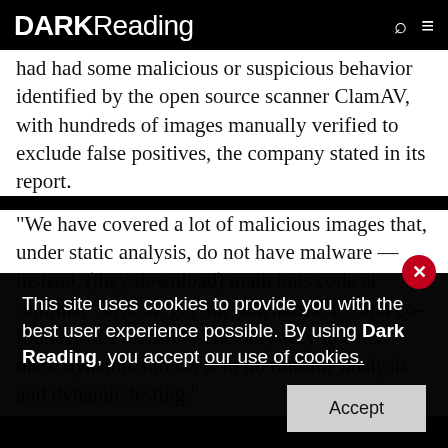DARK Reading
had had some malicious or suspicious behavior identified by the open source scanner ClamAV, with hundreds of images manually verified to exclude false positives, the company stated in its report.
"We have covered a lot of malicious images that, under static analysis, do not have malware — instead, (they download) malicious code at runtime," says Sergei Shevchenko, CTO and co-founder of Prevasio. "The only way to catch these dynamic threats is to do runtime analysis and dynamic testing."
This site uses cookies to provide you with the best user experience possible. By using Dark Reading, you accept our use of cookies.